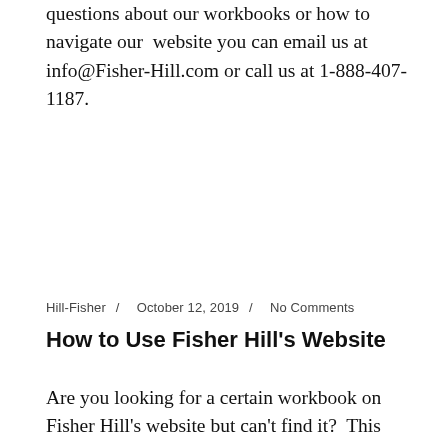questions about our workbooks or how to navigate our website you can email us at info@Fisher-Hill.com or call us at 1-888-407-1187.
Hill-Fisher / October 12, 2019 / No Comments
How to Use Fisher Hill's Website
Are you looking for a certain workbook on Fisher Hill's website but can't find it? This